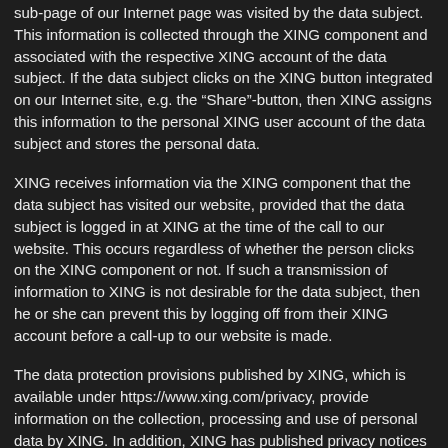sub-page of our Internet page was visited by the data subject. This information is collected through the XING component and associated with the respective XING account of the data subject. If the data subject clicks on the XING button integrated on our Internet site, e.g. the “Share”-button, then XING assigns this information to the personal XING user account of the data subject and stores the personal data.
XING receives information via the XING component that the data subject has visited our website, provided that the data subject is logged in at XING at the time of the call to our website. This occurs regardless of whether the person clicks on the XING component or not. If such a transmission of information to XING is not desirable for the data subject, then he or she can prevent this by logging off from their XING account before a call-up to our website is made.
The data protection provisions published by XING, which is available under https://www.xing.com/privacy, provide information on the collection, processing and use of personal data by XING. In addition, XING has published privacy notices for the XING share button under https://www.xing.com/app/share?op=data_protection.
44. DATA PROTECTION PROVISIONS ABOUT THE APPLICATION AND USE OF YOUTUBE